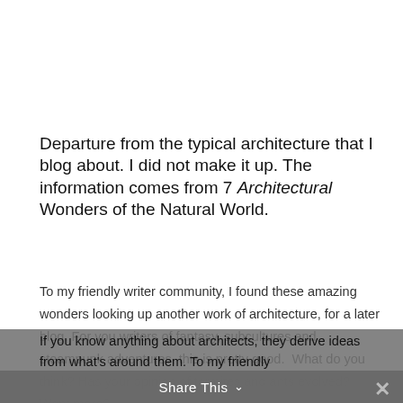Departure from the typical architecture that I blog about. I did not make it up. The information comes from 7 Architectural Wonders of the Natural World.
To my friendly writer community, I found these amazing wonders looking up another work of architecture, for a later blog. For you writers of fantasy, subcultures and steampunk adventures, this is pretty good.  What do you think? Has your opinion of termites and ants evolved? Want more?
If you know anything about architects, they derive ideas from what's around them. To my friendly
Share This